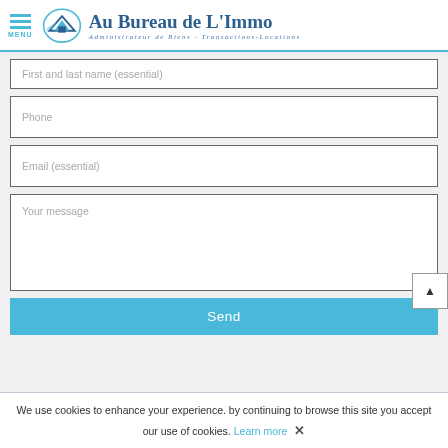Au Bureau de L'Immo — Administrateur de Biens - Transactions-Locations
First and last name (essential)
Phone
Email (essential)
Your message
Send
We use cookies to enhance your experience. by continuing to browse this site you accept our use of cookies. Learn more